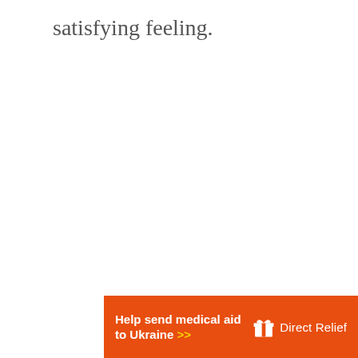satisfying feeling.
[Figure (infographic): Direct Relief advertisement banner with orange background. Text: 'Help send medical aid to Ukraine >>' with Direct Relief logo on right.]